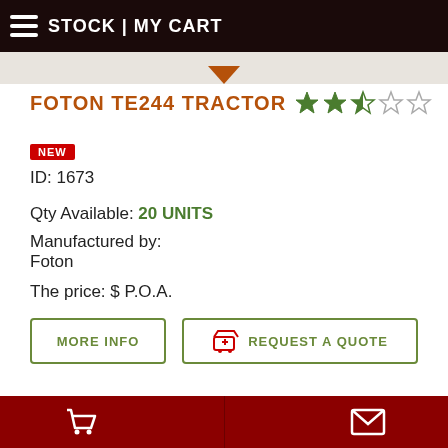STOCK | MY CART
FOTON TE244 TRACTOR
NEW
ID: 1673
Qty Available: 20 UNITS
Manufactured by:
Foton
The price: $ P.O.A.
MORE INFO
REQUEST A QUOTE